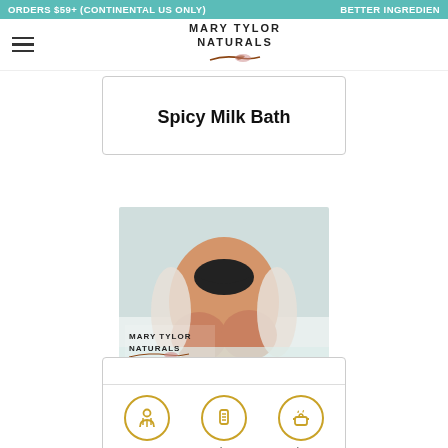ORDERS $59+ (CONTINENTAL US ONLY)   BETTER INGREDIEN
MARY TYLOR NATURALS
Spicy Milk Bath
[Figure (photo): Woman sitting in a white milk bath, wearing a black bikini top, with Mary Tylor Naturals logo overlaid on the image]
1 person   05h 00   00h 00